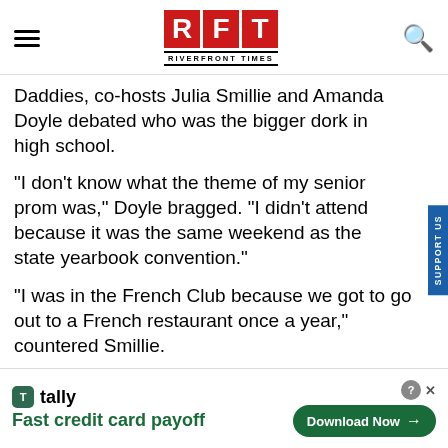RFT RIVERFRONT TIMES
Daddies, co-hosts Julia Smillie and Amanda Doyle debated who was the bigger dork in high school.
"I don't know what the theme of my senior prom was," Doyle bragged. "I didn't attend because it was the same weekend as the state yearbook convention."
"I was in the French Club because we got to go out to a French restaurant once a year," countered Smillie.
SPONSORED CONTENT BY vi
[Figure (screenshot): Tally Fast credit card payoff advertisement banner with Download Now button]